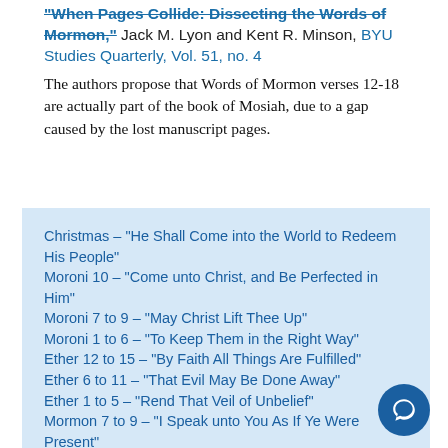“When Pages Collide: Dissecting the Words of Mormon,” Jack M. Lyon and Kent R. Minson, BYU Studies Quarterly, Vol. 51, no. 4
The authors propose that Words of Mormon verses 12-18 are actually part of the book of Mosiah, due to a gap caused by the lost manuscript pages.
Christmas – “He Shall Come into the World to Redeem His People”
Moroni 10 – “Come unto Christ, and Be Perfected in Him”
Moroni 7 to 9 – “May Christ Lift Thee Up”
Moroni 1 to 6 – “To Keep Them in the Right Way”
Ether 12 to 15 – “By Faith All Things Are Fulfilled”
Ether 6 to 11 – “That Evil May Be Done Away”
Ether 1 to 5 – “Rend That Veil of Unbelief”
Mormon 7 to 9 – “I Speak unto You As If Ye Were Present”
Mormon 1 to 6 – “I Would That I Could Persuade All … to Repent”
3 Nephi 27 to 4 Nephi – “There Could Not Be a Happier People”